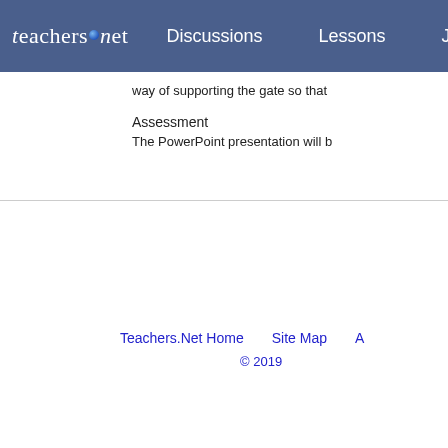teachers.net | Discussions | Lessons | Jo
way of supporting the gate so that
Assessment
The PowerPoint presentation will b
Teachers.Net Home   Site Map   A   © 2019